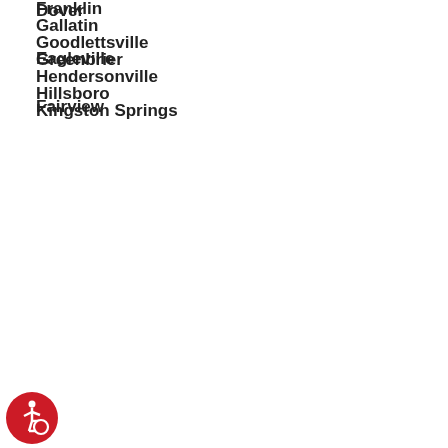Dover
Eagleville
Fairview
Franklin
Gallatin
Goodlettsville
Greenbrier
Hendersonville
Hillsboro
Kingston Springs
Lebanon
Manchester
McMinnville